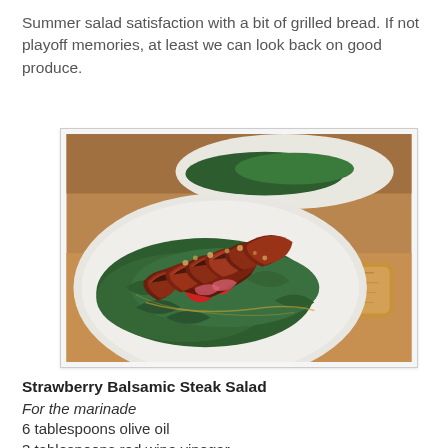Summer salad satisfaction with a bit of grilled bread. If not playoff memories, at least we can look back on good produce.
[Figure (photo): A plate of sliced grilled steak arranged on a bed of spinach leaves with strawberries, served on a white plate with a piece of grilled bread on the side. A second similar plate is visible in the background on a wooden table.]
Strawberry Balsamic Steak Salad
For the marinade
6 tablespoons olive oil
3 tablespoons red wine vinegar
1 tablespoon balsamic vinegar
4 cloves garlic, minced
1 tablespoon rosemary, minced